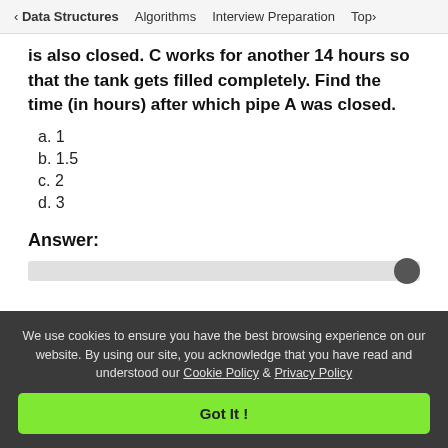< Data Structures   Algorithms   Interview Preparation   Top>
is also closed. C works for another 14 hours so that the tank gets filled completely. Find the time (in hours) after which pipe A was closed.
a. 1
b. 1.5
c. 2
d. 3
Answer:
We use cookies to ensure you have the best browsing experience on our website. By using our site, you acknowledge that you have read and understood our Cookie Policy & Privacy Policy
Got It !